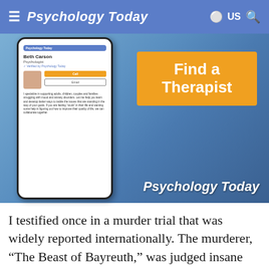Psychology Today  US
[Figure (illustration): Advertisement for Psychology Today's Find a Therapist feature, showing a phone mockup with therapist profile (Beth Carson, Psychologist, Verified by Psychology Today) and an orange box with text 'Find a Therapist', and Psychology Today logo at bottom right.]
I testified once in a murder trial that was widely reported internationally. The murderer, “The Beast of Bayreuth,” was judged insane and spent years in a mental hospital. As far as I can discover, when he returned to the community, he never